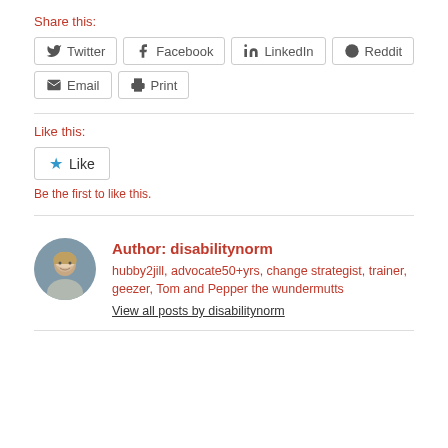Share this:
[Figure (other): Social share buttons: Twitter, Facebook, LinkedIn, Reddit, Email, Print]
Like this:
[Figure (other): Like button with star icon]
Be the first to like this.
[Figure (photo): Author avatar photo of disabilitynorm, an older man]
Author: disabilitynorm
hubby2jill, advocate50+yrs, change strategist, trainer, geezer, Tom and Pepper the wundermutts
View all posts by disabilitynorm